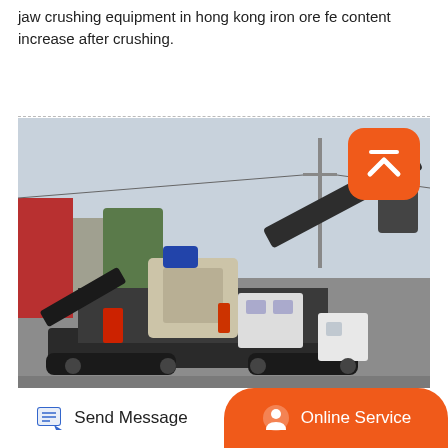jaw crushing equipment in hong kong iron ore fe content increase after crushing.
[Figure (photo): Mobile jaw crushing plant / mobile crushing station on tracked undercarriage, parked in an outdoor industrial yard. The machine is large, dark-colored, with conveyor belts extending upward. An orange scroll-to-top button overlays the top-right corner of the image.]
Send Message | Online Service